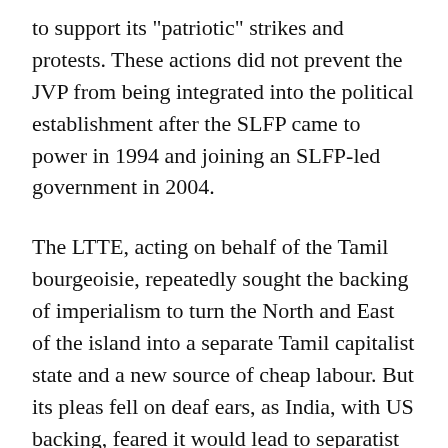to support its "patriotic" strikes and protests. These actions did not prevent the JVP from being integrated into the political establishment after the SLFP came to power in 1994 and joining an SLFP-led government in 2004.
The LTTE, acting on behalf of the Tamil bourgeoisie, repeatedly sought the backing of imperialism to turn the North and East of the island into a separate Tamil capitalist state and a new source of cheap labour. But its pleas fell on deaf ears, as India, with US backing, feared it would lead to separatist agitation at home. The LTTE’s defeat in 2009 at the hands of the Sri Lankan military was not primarily a military one, but stemmed from the bankruptcy of its bourgeois political agenda. Incapable of making any appeal to Tamil workers, let alone the working class in the rest of the island, in India and internationally, the LTTE was reduced to making impotent appeals to the US and other powers that were